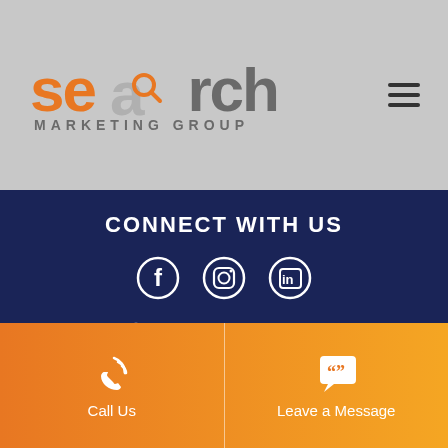[Figure (logo): Search Marketing Group logo with orange and grey text]
CONNECT WITH US
[Figure (infographic): Social media icons: Facebook, Instagram, LinkedIn]
1800 SEARCH
1800 732 724
124/87 Turner St, PORT MELBOURNE, Victoria - 3207, Australia.
Call Us
Leave a Message